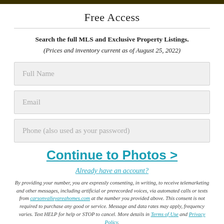Free Access
Search the full MLS and Exclusive Property Listings. (Prices and inventory current as of August 25, 2022)
Full Name
Email
Phone (also used as your password)
Continue to Photos >
Already have an account?
By providing your number, you are expressly consenting, in writing, to receive telemarketing and other messages, including artificial or prerecorded voices, via automated calls or texts from carsonvalleyareahomes.com at the number you provided above. This consent is not required to purchase any good or service. Message and data rates may apply, frequency varies. Text HELP for help or STOP to cancel. More details in Terms of Use and Privacy Policy.